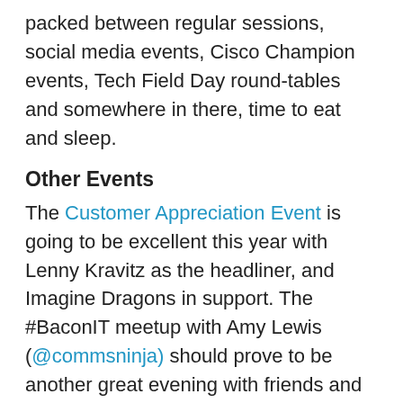packed between regular sessions, social media events, Cisco Champion events, Tech Field Day round-tables and somewhere in there, time to eat and sleep.
Other Events
The Customer Appreciation Event is going to be excellent this year with Lenny Kravitz as the headliner, and Imagine Dragons in support. The #BaconIT meetup with Amy Lewis (@commsninja) should prove to be another great evening with friends and bacon (and maybe a beverage or two). And I'm also looking forward to running in another 5K with Colin McNamara (@colinmcnamara) in support of the Wounded Warriors Project. Rumor has it we might be running across the Golden Gate Bridge!
I'm truly looking forward to another great year, and can't wait to see you there!